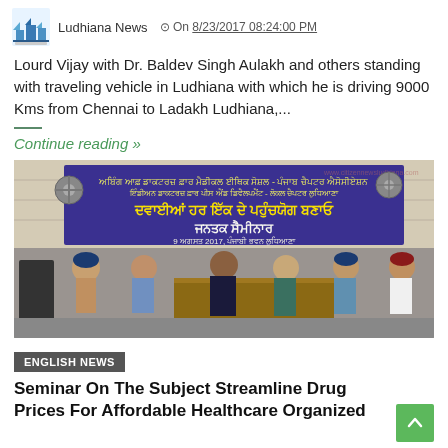Ludhiana News  On 8/23/2017 08:24:00 PM
Lourd Vijay with Dr. Baldev Singh Aulakh and others standing with traveling vehicle in Ludhiana with which he is driving 9000 Kms from Chennai to Ladakh Ludhiana,...
Continue reading »
[Figure (photo): Group of men seated at a seminar table in front of a large purple banner with Punjabi text about making medicines affordable. A public awareness seminar dated 2017.]
ENGLISH NEWS
Seminar On The Subject Streamline Drug Prices For Affordable Healthcare Organized